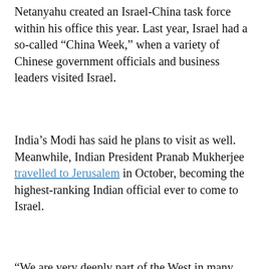Netanyahu created an Israel-China task force within his office this year. Last year, Israel had a so-called “China Week,” when a variety of Chinese government officials and business leaders visited Israel.
India’s Modi has said he plans to visit as well. Meanwhile, Indian President Pranab Mukherjee travelled to Jerusalem in October, becoming the highest-ranking Indian official ever to come to Israel.
“We are very deeply part of the West in many, many ways, but we look to the East,” Netanyahu said at the state dinner during Mukherjee’s visit. “We appreciate Europe,
[Figure (infographic): Red banner with download icon: CLICK TO DOWLOAD OUR LATEST EDITION]
[Figure (infographic): Black banner: CLICK HERE TO SUBSCRIBE TO OUR NEWSLETTER]
for “economic diplomacy” with the world’s most populous country. As opposed to Europe, Bennett said, Chinese